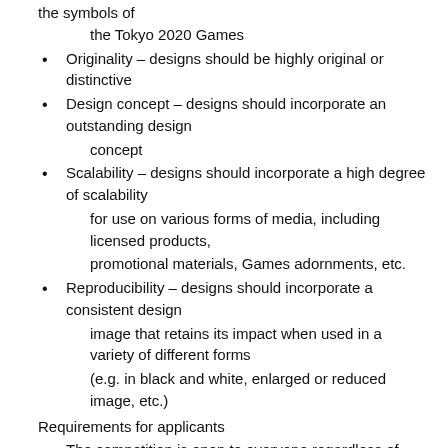the symbols of the Tokyo 2020 Games
Originality – designs should be highly original or distinctive
Design concept – designs should incorporate an outstanding design concept
Scalability – designs should incorporate a high degree of scalability for use on various forms of media, including licensed products, promotional materials, Games adornments, etc.
Reproducibility – designs should incorporate a consistent design image that retains its impact when used in a variety of different forms (e.g. in black and white, enlarged or reduced image, etc.)
Requirements for applicants
The competition is open to everyone regardless of previous